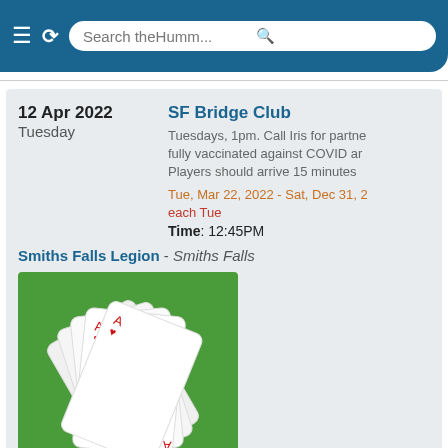Search theHumm...
12 Apr 2022
Tuesday
SF Bridge Club
Tuesdays, 1pm. Call Iris for partne... fully vaccinated against COVID ar... Players should arrive 15 minutes ...
Tue, Mar 22, 2022 - Sat, Dec 31, 2...
each Tue
Time: 12:45PM
Smiths Falls Legion - Smiths Falls
[Figure (photo): Playing cards fanned out showing aces on a green background]
12 Apr 2022
MVTM Sho... Material Worl...